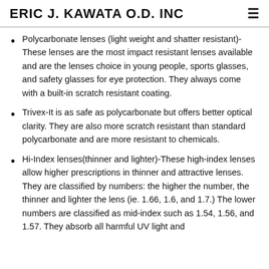ERIC J. KAWATA O.D. INC
Polycarbonate lenses (light weight and shatter resistant)-These lenses are the most impact resistant lenses available and are the lenses choice in young people, sports glasses, and safety glasses for eye protection. They always come with a built-in scratch resistant coating.
Trivex-It is as safe as polycarbonate but offers better optical clarity. They are also more scratch resistant than standard polycarbonate and are more resistant to chemicals.
Hi-Index lenses(thinner and lighter)-These high-index lenses allow higher prescriptions in thinner and attractive lenses. They are classified by numbers: the higher the number, the thinner and lighter the lens (ie. 1.66, 1.6, and 1.7.) The lower numbers are classified as mid-index such as 1.54, 1.56, and 1.57. They absorb all harmful UV light and